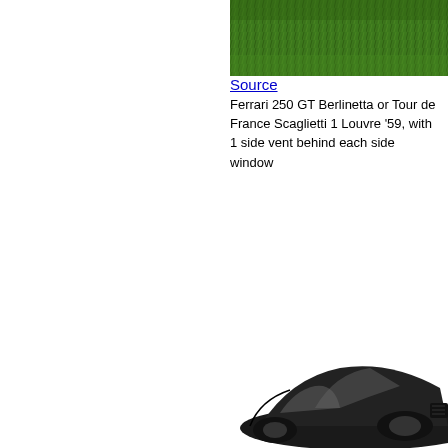[Figure (photo): Top portion of a Ferrari 250 GT Berlinetta parked on grass, showing the green grass background at the top of the image.]
Source
Ferrari 250 GT Berlinetta or Tour de France Scaglietti 1 Louvre '59, with 1 side vent behind each side window
[Figure (photo): Bottom portion of a Ferrari 250 GT Berlinetta, showing the front/side view of the car in black and white illustration style, partially visible at the bottom of the page.]